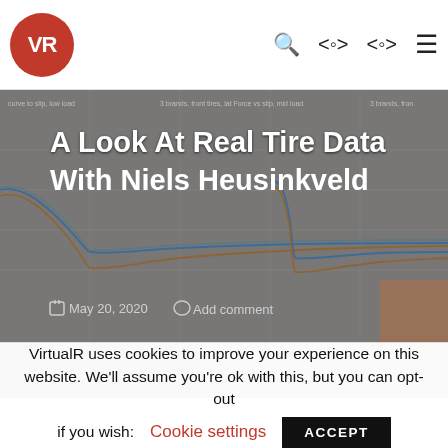VR (VirtualR logo)
[Figure (screenshot): Hero image showing a tire data chart with overlaid article title 'A Look At Real Tire Data With Niels Heusinkveld', dated May 20, 2020, with Add comment link. Background shows line charts on a whiteboard with multiple colored curves.]
A Look At Real Tire Data With Niels Heusinkveld
May 20, 2020   Add comment
[Figure (photo): Partial view of a second image strip, appears to show a person or equipment, partially visible at the bottom.]
VirtualR uses cookies to improve your experience on this website. We'll assume you're ok with this, but you can opt-out if you wish: Cookie settings ACCEPT